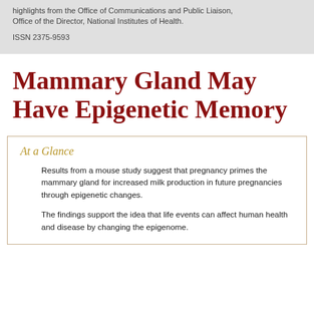highlights from the Office of Communications and Public Liaison, Office of the Director, National Institutes of Health.
ISSN 2375-9593
Mammary Gland May Have Epigenetic Memory
At a Glance
Results from a mouse study suggest that pregnancy primes the mammary gland for increased milk production in future pregnancies through epigenetic changes.
The findings support the idea that life events can affect human health and disease by changing the epigenome.